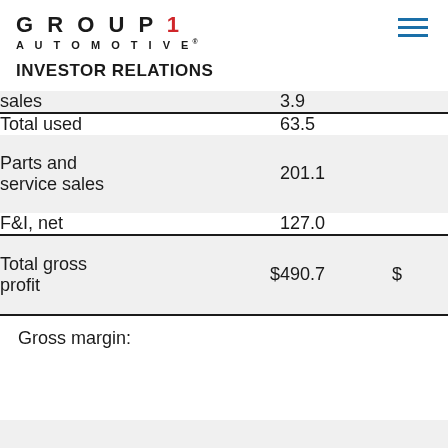GROUP 1 AUTOMOTIVE — Investor Relations
INVESTOR RELATIONS
|  |  |  |  |
| --- | --- | --- | --- |
| sales |  | 3.9 |  |
| Total used |  | 63.5 |  |
| Parts and service sales |  | 201.1 |  |
| F&I, net |  | 127.0 |  |
| Total gross profit | $ | 490.7 | $ |
Gross margin: